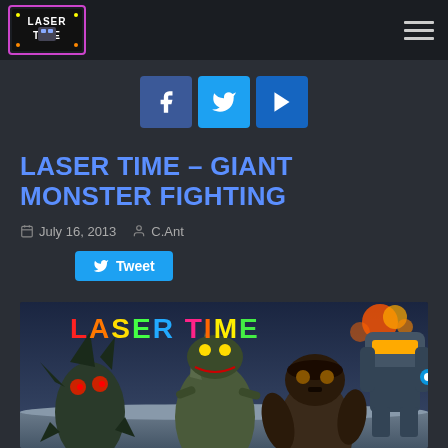[Figure (logo): Laser Time pixel art logo in top left nav bar]
[Figure (infographic): Hamburger menu icon in top right nav bar]
[Figure (infographic): Social media buttons: Facebook, Twitter, YouTube]
LASER TIME – GIANT MONSTER FIGHTING
July 16, 2013  C.Ant
Tweet
[Figure (photo): Article header image showing giant monsters including Godzilla, King Kong, and a large robot/mech fighting, with rainbow-colored 'LASERTIME' text overlay at the top of the image]